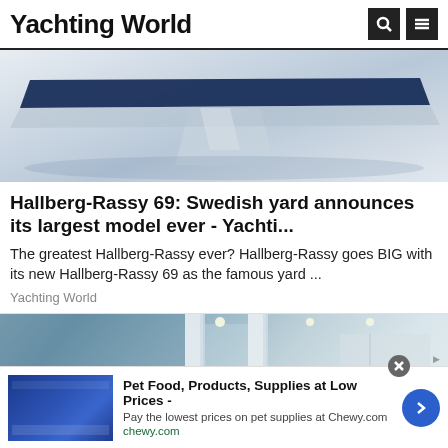Yachting World
[Figure (photo): Boat hull and keel render from above/side, showing dark blue hull and white fin keel against light grey background]
Hallberg-Rassy 69: Swedish yard announces its largest model ever - Yachti...
The greatest Hallberg-Rassy ever? Hallberg-Rassy goes BIG with its new Hallberg-Rassy 69 as the famous yard ...
Yachting World
[Figure (photo): Interior render of a yacht saloon showing white structural columns, grey walls, recessed ceiling lights and modern cabinetry]
[Figure (screenshot): Advertisement banner: Pet Food, Products, Supplies at Low Prices - Chewy.com. Shows blue product image on left, text in center, and blue circular arrow button on right.]